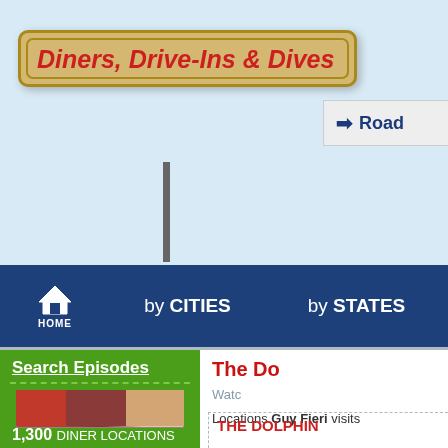Diners, Drive-Ins & Dives
→ Road
HOME
by CITIES
by STATES
Search Episodes
[Figure (photo): Guy Fieri in red shirt reaching toward camera in restaurant setting]
1,300 DINER LOCATIONS
The Do
Watc
Locations Guy Fieri visits
THE DOLPHIN